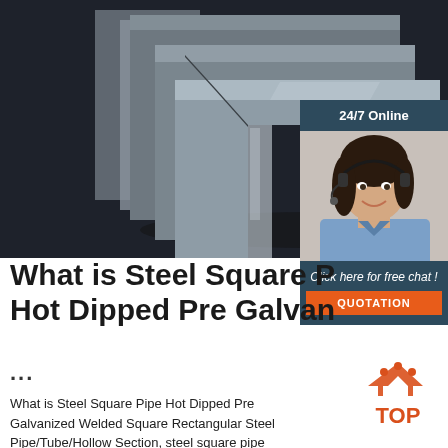[Figure (photo): Stack of steel angle bars/sections arranged in a pile against a dark background]
[Figure (illustration): 24/7 Online chat widget showing a woman with headset and a QUOTATION button]
What is Steel Square P... Hot Dipped Pre Galvan...
...
What is Steel Square Pipe Hot Dipped Pre Galvanized Welded Square Rectangular Steel Pipe/Tube/Hollow Section, steel square pipe manufacturers &